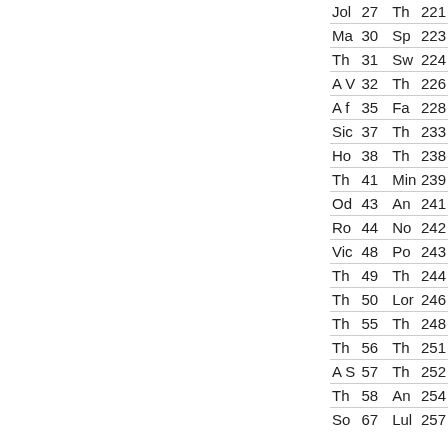| Jol | 27 | Th | 221 |
| Ma | 30 | Sp | 223 |
| Th | 31 | Sw | 224 |
| A V | 32 | Th | 226 |
| A f | 35 | Fa | 228 |
| Sic | 37 | Th | 233 |
| Ho | 38 | Th | 238 |
| Th | 41 | Min | 239 |
| Od | 43 | An | 241 |
| Ro | 44 | No | 242 |
| Vic | 48 | Po | 243 |
| Th | 49 | Th | 244 |
| Th | 50 | Lor | 246 |
| Th | 55 | Th | 248 |
| Th | 56 | Th | 251 |
| A S | 57 | Th | 252 |
| Th | 58 | An | 254 |
| So | 67 | Lul | 257 |